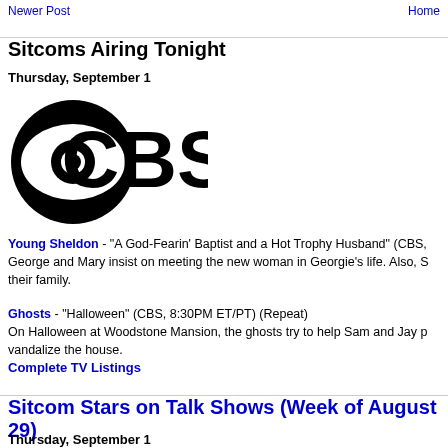Newer Post | Home
Sitcoms Airing Tonight
Thursday, September 1
[Figure (logo): CBS eye network logo in black and white]
Young Sheldon - "A God-Fearin' Baptist and a Hot Trophy Husband" (CBS, ... George and Mary insist on meeting the new woman in Georgie's life. Also, S... their family.
Ghosts - "Halloween" (CBS, 8:30PM ET/PT) (Repeat) On Halloween at Woodstone Mansion, the ghosts try to help Sam and Jay p... vandalize the house.
Complete TV Listings
Sitcom Stars on Talk Shows (Week of August 29)
Thursday, September 1